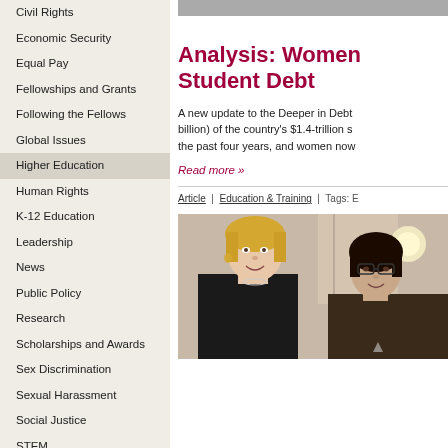Civil Rights
Economic Security
Equal Pay
Fellowships and Grants
Following the Fellows
Global Issues
Higher Education
Human Rights
K-12 Education
Leadership
News
Public Policy
Research
Scholarships and Awards
Sex Discrimination
Sexual Harassment
Social Justice
STEM
Student Leadership
Title IX
Analysis: Women Student Debt
A new update to the Deeper in Debt billion) of the country's $1.4-trillion s the past four years, and women now
Read more »
Article  |  Education & Training  |  Tags: E
[Figure (photo): Two women smiling for a photo indoors, one with blonde hair wearing a black jacket, one with dark hair wearing glasses]